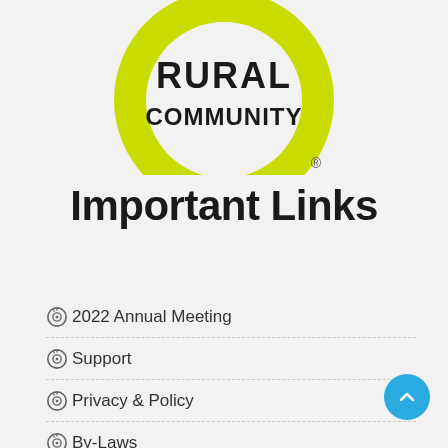[Figure (logo): Rural Community logo: large lime-green circle ring with black bold text RURAL COMMUNITY inside, registered trademark symbol at lower right]
Important Links
2022 Annual Meeting
Support
Privacy & Policy
By-Laws